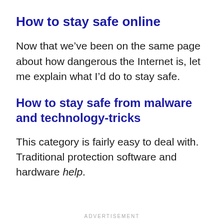How to stay safe online
Now that we’ve been on the same page about how dangerous the Internet is, let me explain what I’d do to stay safe.
How to stay safe from malware and technology-tricks
This category is fairly easy to deal with. Traditional protection software and hardware help.
ADVERTISEMENT